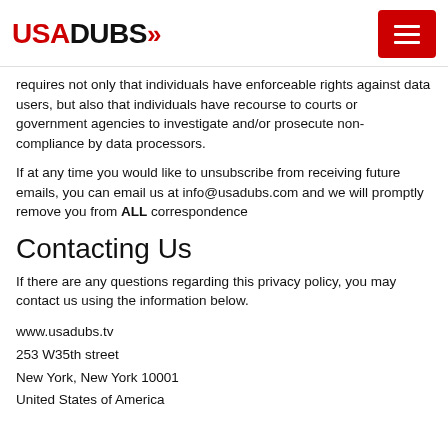USADUBS»
requires not only that individuals have enforceable rights against data users, but also that individuals have recourse to courts or government agencies to investigate and/or prosecute non-compliance by data processors.
If at any time you would like to unsubscribe from receiving future emails, you can email us at info@usadubs.com and we will promptly remove you from ALL correspondence
Contacting Us
If there are any questions regarding this privacy policy, you may contact us using the information below.
www.usadubs.tv
253 W35th street
New York, New York 10001
United States of America